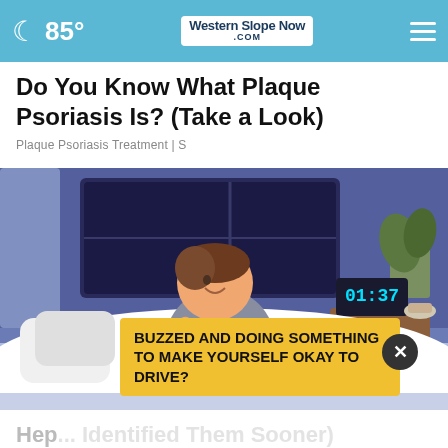85° | Western Slope Now .com
Do You Know What Plaque Psoriasis Is? (Take a Look)
Plaque Psoriasis Treatment | S
[Figure (illustration): Cartoon illustration of a man sitting on a bed at night scratching his leg, with a digital clock showing 01:37 on a nightstand, a plant in the background, and white bedding around him.]
BUZZED AND DOING SOMETHING TO MAKE YOURSELF OKAY TO DRIVE?
Hep... Identified Them Sooner)